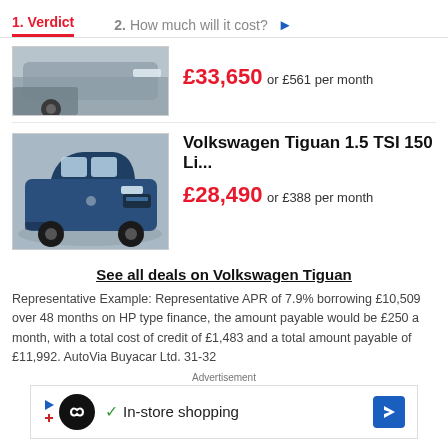1. Verdict   2. How much will it cost?
£33,650 or £561 per month
[Figure (photo): Partial view of a car (rear/side), parked outdoors]
[Figure (photo): Blue Volkswagen Tiguan SUV on a turntable, front 3/4 view]
Volkswagen Tiguan 1.5 TSI 150 Li...
£28,490 or £388 per month
See all deals on Volkswagen Tiguan
Representative Example: Representative APR of 7.9% borrowing £10,509 over 48 months on HP type finance, the amount payable would be £250 a month, with a total cost of credit of £1,483 and a total amount payable of £11,992. AutoVia Buyacar Ltd. 31-32
Advertisement
[Figure (screenshot): Advertisement banner: circular icon with infinity symbol, checkmark, 'In-store shopping' text, blue direction arrow icon]